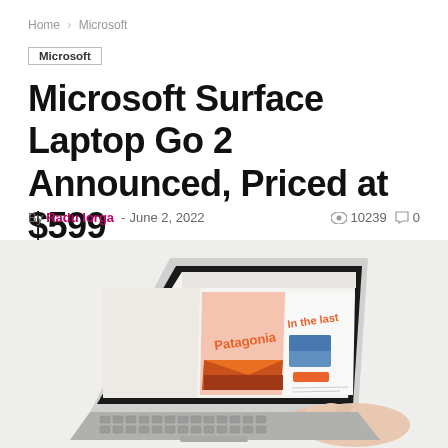Home › Microsoft
Microsoft
Microsoft Surface Laptop Go 2 Announced, Priced at $599
By Radu Iorga - June 2, 2022   10239   0
[Figure (photo): Microsoft Surface Laptop Go 2 shown from above at an angle, with a hand typing on the keyboard. The screen displays a design application with Patagonia branding and orange design elements.]